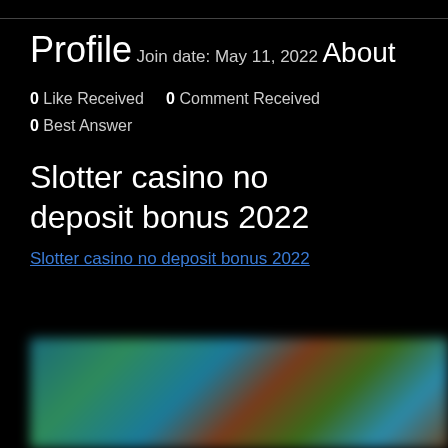Profile
Join date: May 11, 2022
About
0 Like Received    0 Comment Received
0 Best Answer
Slotter casino no deposit bonus 2022
Slotter casino no deposit bonus 2022
[Figure (photo): Blurred image of casino or gaming scene with colorful background]